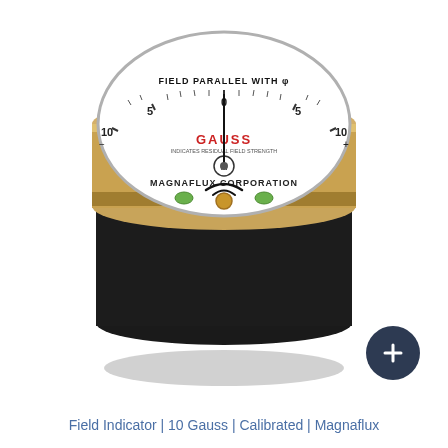[Figure (photo): A Magnaflux Corporation field indicator (gauss meter), circular dial gauge with gold/brass rim and black cylindrical base. The white dial face reads 'FIELD PARALLEL WITH' at the top with a scale from -10 to +10 GAUSS, centered at 0, with markings at 5 and 10 on each side. The word 'GAUSS' is printed in red in the center of the dial. 'MAGNAFLUX CORPORATION' is printed at the bottom of the dial face. A needle points upward at 0. Below the dial face are two small green indicator dots and a central brass adjustment knob with a black arc symbol.]
Field Indicator | 10 Gauss | Calibrated | Magnaflux